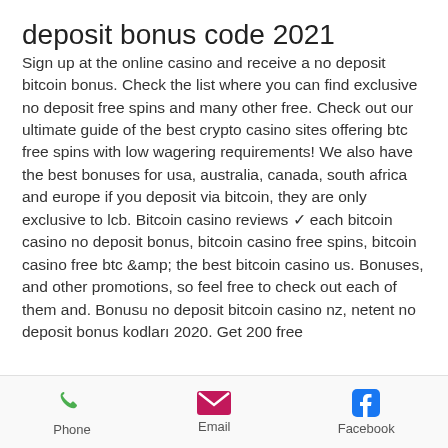deposit bonus code 2021
Sign up at the online casino and receive a no deposit bitcoin bonus. Check the list where you can find exclusive no deposit free spins and many other free. Check out our ultimate guide of the best crypto casino sites offering btc free spins with low wagering requirements! We also have the best bonuses for usa, australia, canada, south africa and europe if you deposit via bitcoin, they are only exclusive to lcb. Bitcoin casino reviews ✓ each bitcoin casino no deposit bonus, bitcoin casino free spins, bitcoin casino free btc &amp; the best bitcoin casino us. Bonuses, and other promotions, so feel free to check out each of them and. Bonusu no deposit bitcoin casino nz, netent no deposit bonus kodları 2020. Get 200 free
Phone  Email  Facebook